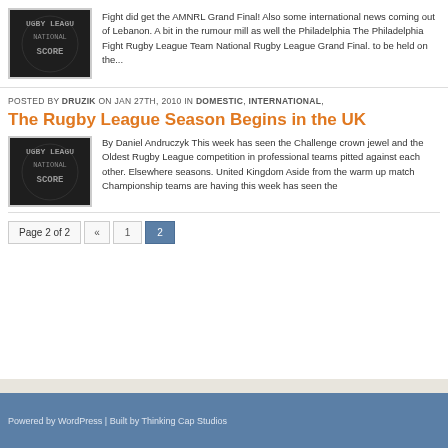[Figure (logo): Rugby League National Scorecard thumbnail image - dark background with white text]
Fight did get the AMNRL Grand Final! Also some international news coming out of Lebanon. A bit in the rumour mill as well the Philadelphia The Philadelphia Fight Rugby League Team National Rugby League Grand Final. to be held on the...
POSTED BY DRUZIK ON JAN 27TH, 2010 IN DOMESTIC, INTERNATIONAL,
The Rugby League Season Begins in the UK
[Figure (logo): Rugby League National Scorecard thumbnail image - dark background with white text]
By Daniel Andruczyk This week has seen the Challenge crown jewel and the Oldest Rugby League competition in professional teams pitted against each other. Elsewhere seasons. United Kingdom Aside from the warm up match Championship teams are having this week has seen the
Page 2 of 2  «  1  2
Powered by WordPress | Built by Thinking Cap Studios